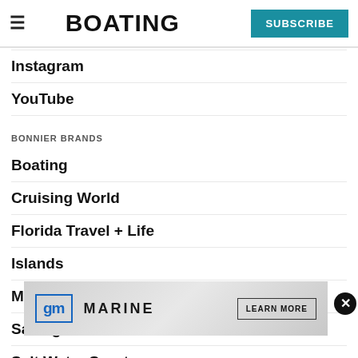BOATING | SUBSCRIBE
Instagram
YouTube
BONNIER BRANDS
Boating
Cruising World
Florida Travel + Life
Islands
Marlin
Sailing World
Salt Water Sportsman
Sport...
Wakeboarding
[Figure (infographic): GM Marine advertisement banner with logo and LEARN MORE button]